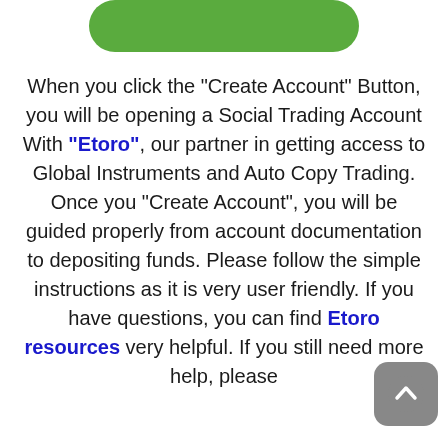[Figure (other): Green rounded rectangle button at top of page (Create Account button partially visible)]
When you click the “Create Account” Button, you will be opening a Social Trading Account With “Etoro”, our partner in getting access to Global Instruments and Auto Copy Trading. Once you “Create Account”, you will be guided properly from account documentation to depositing funds. Please follow the simple instructions as it is very user friendly. If you have questions, you can find Etoro resources very helpful. If you still need more help, please
[Figure (other): Gray rounded square scroll-to-top button with upward arrow icon, positioned bottom right]